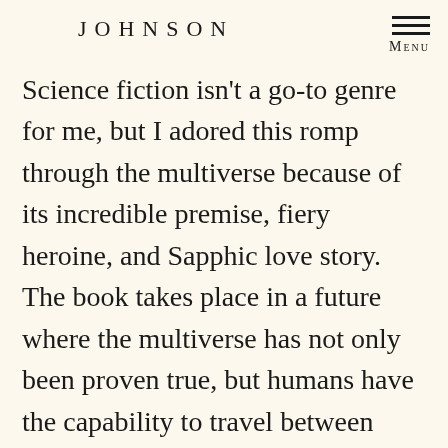JOHNSON
Menu
Science fiction isn't a go-to genre for me, but I adored this romp through the multiverse because of its incredible premise, fiery heroine, and Sapphic love story. The book takes place in a future where the multiverse has not only been proven true, but humans have the capability to travel between worlds–as long as they don't have another self living on that